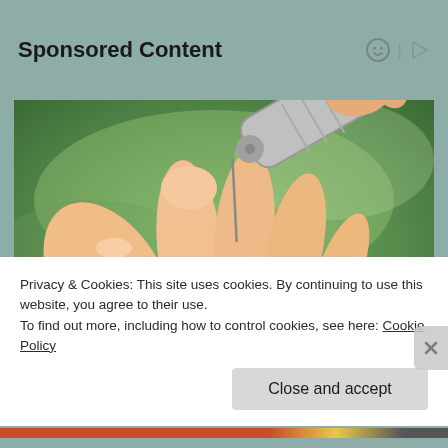Sponsored Content
[Figure (photo): Close-up photo of a person's hand being pricked on the fingertip by a lancet device for blood glucose testing, with a green blurred background.]
Privacy & Cookies: This site uses cookies. By continuing to use this website, you agree to their use.
To find out more, including how to control cookies, see here: Cookie Policy
Close and accept